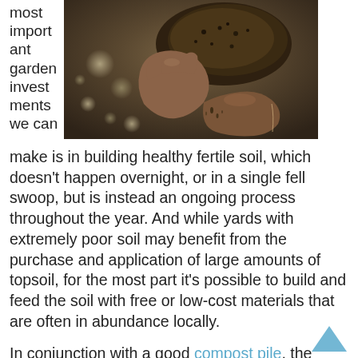most important garden investments we can
[Figure (photo): Close-up photograph of a person's hands holding and crumbling dark fertile soil, with bokeh background]
make is in building healthy fertile soil, which doesn't happen overnight, or in a single fell swoop, but is instead an ongoing process throughout the year. And while yards with extremely poor soil may benefit from the purchase and application of large amounts of topsoil, for the most part it's possible to build and feed the soil with free or low-cost materials that are often in abundance locally.
In conjunction with a good compost pile, the addition of quantities of organic materials to the